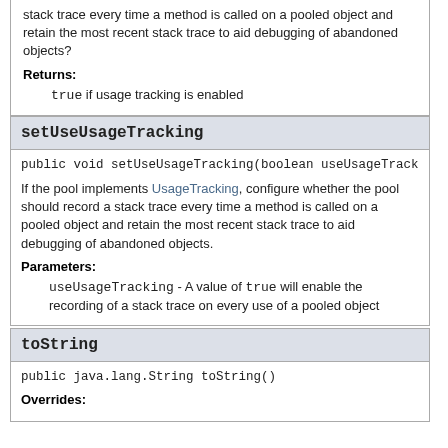stack trace every time a method is called on a pooled object and retain the most recent stack trace to aid debugging of abandoned objects?
Returns:
true if usage tracking is enabled
setUseUsageTracking
public void setUseUsageTracking(boolean useUsageTrack
If the pool implements UsageTracking, configure whether the pool should record a stack trace every time a method is called on a pooled object and retain the most recent stack trace to aid debugging of abandoned objects.
Parameters:
useUsageTracking - A value of true will enable the recording of a stack trace on every use of a pooled object
toString
public java.lang.String toString()
Overrides: